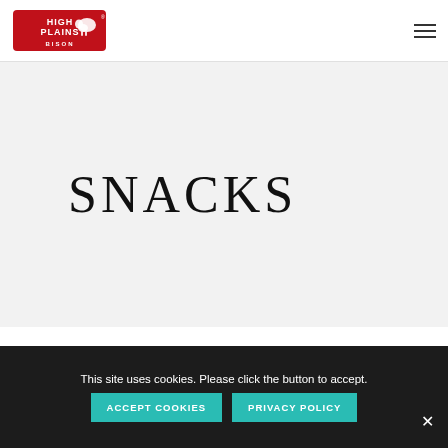High Plains Bison — navigation header with logo and hamburger menu
SNACKS
This site uses cookies. Please click the button to accept.
ACCEPT COOKIES
PRIVACY POLICY